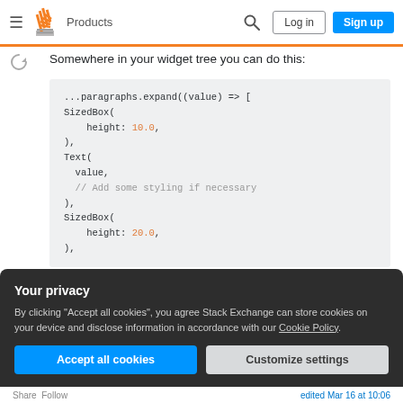Stack Overflow — Products | Log in | Sign up
Somewhere in your widget tree you can do this:
...paragraphs.expand((value) => [
  SizedBox(
      height: 10.0,
  ),
  Text(
    value,
    // Add some styling if necessary
  ),
  SizedBox(
      height: 20.0,
  ),
Your privacy
By clicking "Accept all cookies", you agree Stack Exchange can store cookies on your device and disclose information in accordance with our Cookie Policy.
Accept all cookies
Customize settings
Share  Follow    edited Mar 16 at 10:06